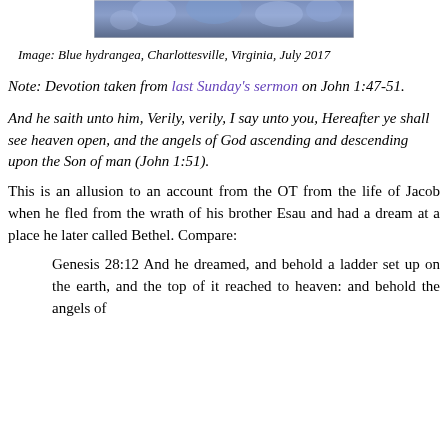[Figure (photo): Photo of blue hydrangea flowers, partially visible at top of page]
Image: Blue hydrangea, Charlottesville, Virginia, July 2017
Note: Devotion taken from last Sunday's sermon on John 1:47-51.
And he saith unto him, Verily, verily, I say unto you, Hereafter ye shall see heaven open, and the angels of God ascending and descending upon the Son of man (John 1:51).
This is an allusion to an account from the OT from the life of Jacob when he fled from the wrath of his brother Esau and had a dream at a place he later called Bethel. Compare:
Genesis 28:12 And he dreamed, and behold a ladder set up on the earth, and the top of it reached to heaven: and behold the angels of